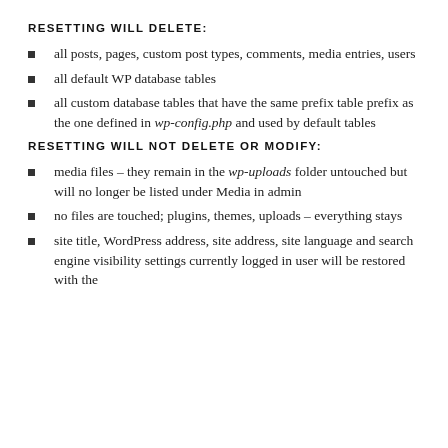RESETTING WILL DELETE:
all posts, pages, custom post types, comments, media entries, users
all default WP database tables
all custom database tables that have the same prefix table prefix as the one defined in wp-config.php and used by default tables
RESETTING WILL NOT DELETE OR MODIFY:
media files – they remain in the wp-uploads folder untouched but will no longer be listed under Media in admin
no files are touched; plugins, themes, uploads – everything stays
site title, WordPress address, site address, site language and search engine visibility settings currently logged in user will be restored with the